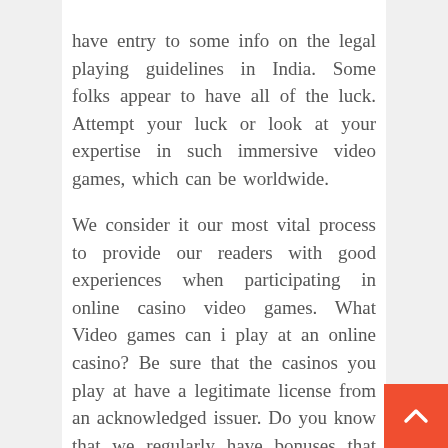have entry to some info on the legal playing guidelines in India. Some folks appear to have all of the luck. Attempt your luck or look at your expertise in such immersive video games, which can be worldwide.
We consider it our most vital process to provide our readers with good experiences when participating in online casino video games. What Video games can i play at an online casino? Be sure that the casinos you play at have a legitimate license from an acknowledged issuer. Do you know that we regularly have bonuses that can be much better than these you get immediately at the